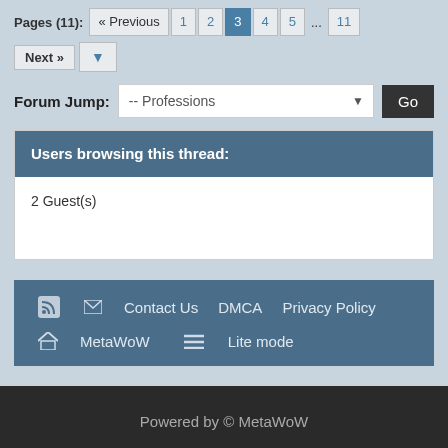Pages (11): « Previous  1  2  3  4  5  ...  11  Next »
Forum Jump: -- Professions   Go
Users browsing this thread:
2 Guest(s)
RSS  Contact Us  DMCA  Privacy Policy  MetaWoW  Lite mode
Powered by © MetaWoW